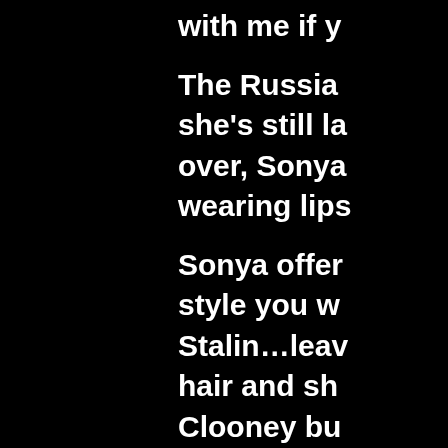with me if y

The Russia
she's still la
over, Sonya
wearing lips

Sonya offer
style you w
Stalin…leav
hair and sh
Clooney bu